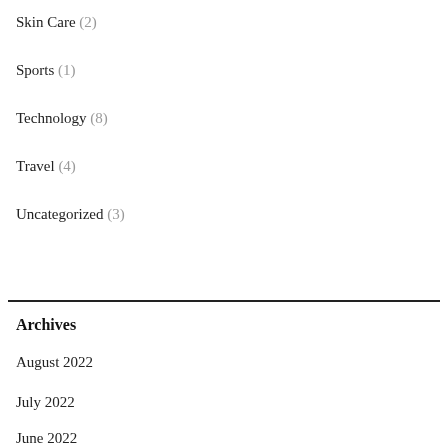Skin Care (2)
Sports (1)
Technology (8)
Travel (4)
Uncategorized (3)
Archives
August 2022
July 2022
June 2022